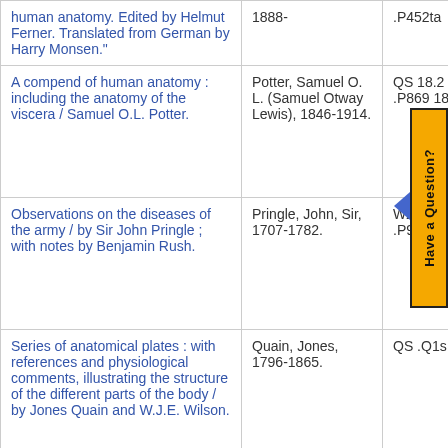| Title | Author | Call Number |
| --- | --- | --- |
| human anatomy. Edited by Helmut Ferner. Translated from German by Harry Monsen." | 1888- | .P452ta |
| A compend of human anatomy : including the anatomy of the viscera / Samuel O.L. Potter. | Potter, Samuel O. L. (Samuel Otway Lewis), 1846-1914. | QS 18.2 .P869 1894 |
| Observations on the diseases of the army / by Sir John Pringle ; with notes by Benjamin Rush. | Pringle, John, Sir, 1707-1782. | WZ260 .P957o 1810c |
| Series of anatomical plates : with references and physiological comments, illustrating the structure of the different parts of the body / by Jones Quain and W.J.E. Wilson. | Quain, Jones, 1796-1865. | QS .Q1s 1852 |